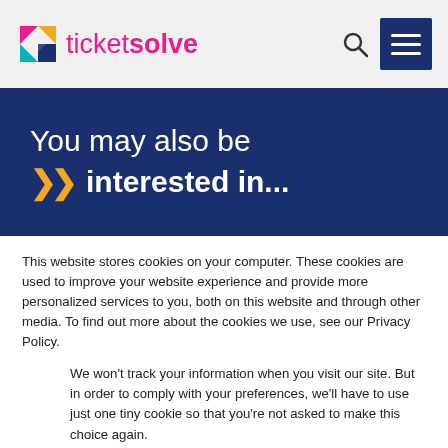ticketsolve
You may also be interested in...
This website stores cookies on your computer. These cookies are used to improve your website experience and provide more personalized services to you, both on this website and through other media. To find out more about the cookies we use, see our Privacy Policy.
We won't track your information when you visit our site. But in order to comply with your preferences, we'll have to use just one tiny cookie so that you're not asked to make this choice again.
Accept  Decline